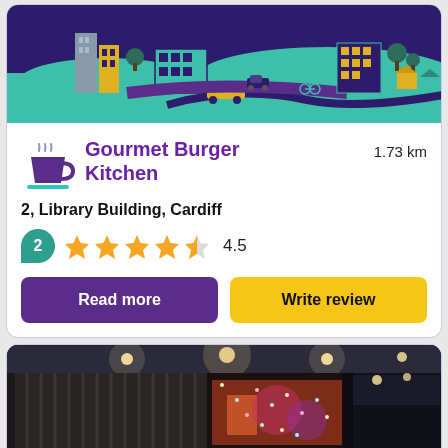[Figure (illustration): Colorful illustrated city skyline with purple sky, teal ground, buildings, bus, and vehicles]
Gourmet Burger Kitchen
1.73 km
2, Library Building, Cardiff
2 reviews, 4.5 star rating
Read more
Write review
[Figure (photo): Night photo of a restaurant exterior with large glass windows, colorful interior lighting, and Christmas lights]